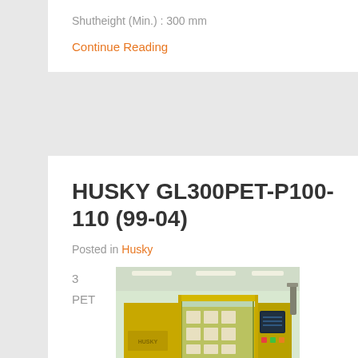Shutheight (Min.) : 300 mm
Continue Reading
HUSKY GL300PET-P100-110 (99-04)
Posted in Husky
3
PET
[Figure (photo): Yellow Husky GL300PET injection molding machine in a factory setting, large industrial equipment with yellow safety guards and transparent panels]